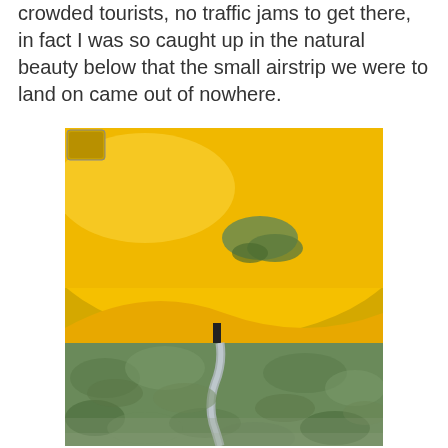crowded tourists, no traffic jams to get there, in fact I was so caught up in the natural beauty below that the small airstrip we were to land on came out of nowhere.
[Figure (photo): A close-up photo taken from inside a small yellow aircraft, showing the underside/wing of the plane in bright yellow with some green paint scuff marks, and below it an aerial view of dense green forest canopy with a narrow winding river or road cutting through it.]